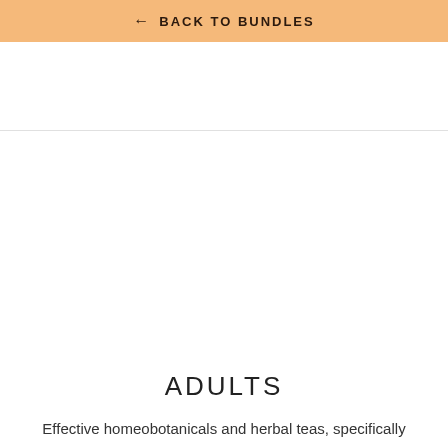← BACK TO BUNDLES
ADULTS
Effective homeobotanicals and herbal teas, specifically